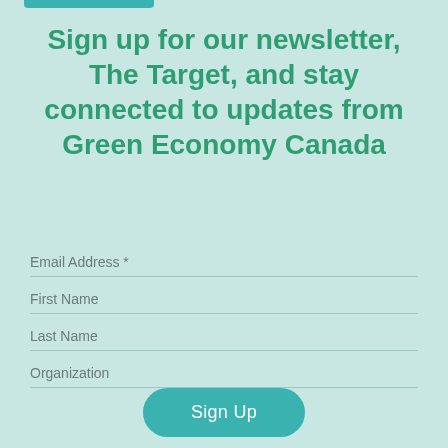Sign up for our newsletter, The Target, and stay connected to updates from Green Economy Canada
Email Address *
First Name
Last Name
Organization
Sign Up